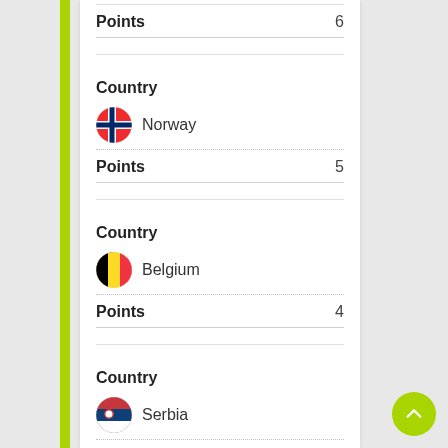Points  6
Country
Norway
Points  5
Country
Belgium
Points  4
Country
Serbia